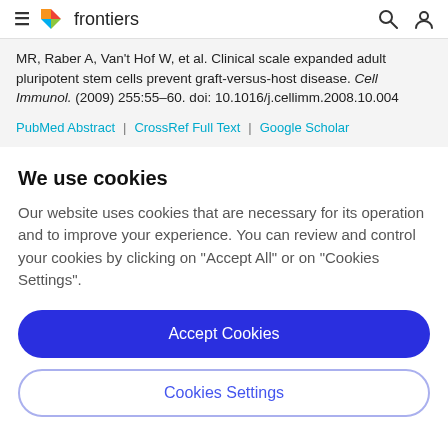frontiers (navigation bar with logo, search, and user icons)
MR, Raber A, Van't Hof W, et al. Clinical scale expanded adult pluripotent stem cells prevent graft-versus-host disease. Cell Immunol. (2009) 255:55–60. doi: 10.1016/j.cellimm.2008.10.004
PubMed Abstract | CrossRef Full Text | Google Scholar
We use cookies
Our website uses cookies that are necessary for its operation and to improve your experience. You can review and control your cookies by clicking on "Accept All" or on "Cookies Settings".
Accept Cookies
Cookies Settings